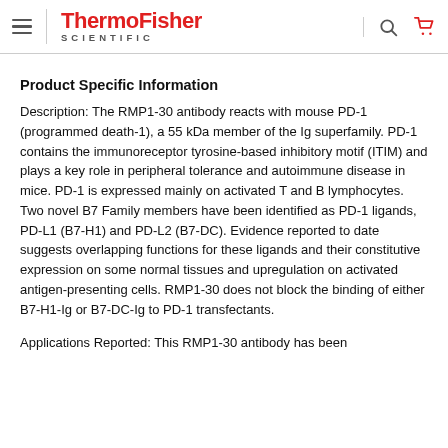ThermoFisher SCIENTIFIC
Product Specific Information
Description: The RMP1-30 antibody reacts with mouse PD-1 (programmed death-1), a 55 kDa member of the Ig superfamily. PD-1 contains the immunoreceptor tyrosine-based inhibitory motif (ITIM) and plays a key role in peripheral tolerance and autoimmune disease in mice. PD-1 is expressed mainly on activated T and B lymphocytes. Two novel B7 Family members have been identified as PD-1 ligands, PD-L1 (B7-H1) and PD-L2 (B7-DC). Evidence reported to date suggests overlapping functions for these ligands and their constitutive expression on some normal tissues and upregulation on activated antigen-presenting cells. RMP1-30 does not block the binding of either B7-H1-Ig or B7-DC-Ig to PD-1 transfectants.
Applications Reported: This RMP1-30 antibody has been